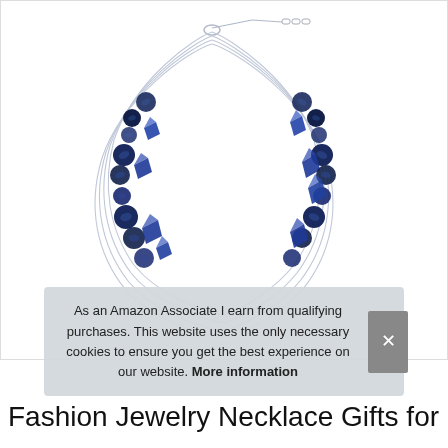[Figure (photo): A multi-strand silver wire necklace with dark navy blue pearl and crystal beads clustered on both sides, displayed on white background with silver extender chain at top.]
As an Amazon Associate I earn from qualifying purchases. This website uses the only necessary cookies to ensure you get the best experience on our website. More information
Fashion Jewelry Necklace Gifts for